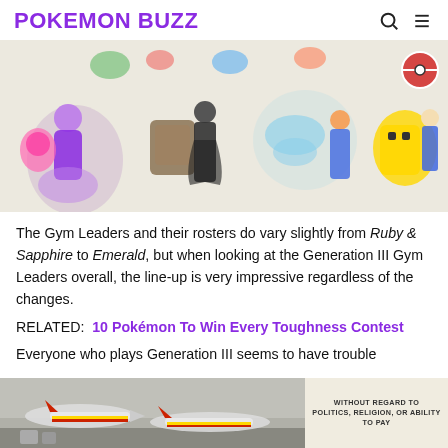POKEMON BUZZ
[Figure (illustration): Collage of Generation III Pokemon Gym Leaders and their Pokemon, including a purple-dressed woman with a ghost-type Pokemon, a rock-type trainer with boulder Pokemon, a female trainer with a butterfly Pokemon, and a yellow robotic Pokemon with a male trainer.]
The Gym Leaders and their rosters do vary slightly from Ruby & Sapphire to Emerald, but when looking at the Generation III Gym Leaders overall, the line-up is very impressive regardless of the changes.
RELATED:  10 Pokémon To Win Every Toughness Contest
Everyone who plays Generation III seems to have trouble
[Figure (photo): Advertisement banner showing cargo airplanes on a tarmac with text 'WITHOUT REGARD TO POLITICS, RELIGION, OR ABILITY TO PAY']